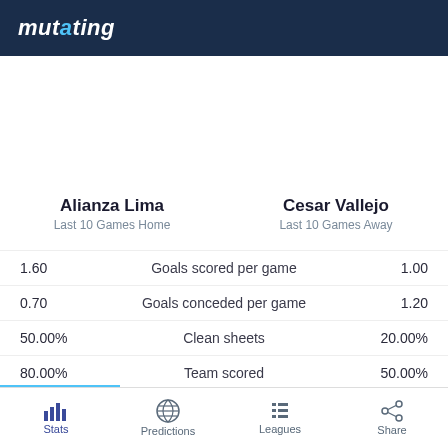mutating
Alianza Lima
Last 10 Games Home
Cesar Vallejo
Last 10 Games Away
| Alianza Lima | Stat | Cesar Vallejo |
| --- | --- | --- |
| 1.60 | Goals scored per game | 1.00 |
| 0.70 | Goals conceded per game | 1.20 |
| 50.00% | Clean sheets | 20.00% |
| 80.00% | Team scored | 50.00% |
Stats | Predictions | Leagues | Share